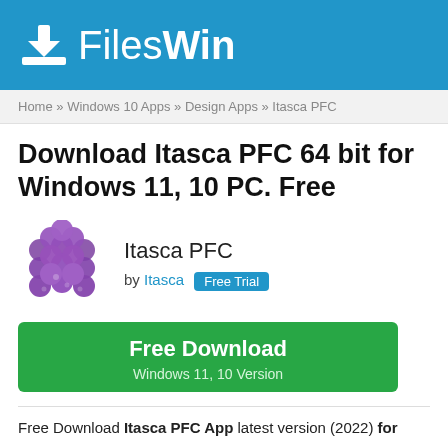FilesWin
Home » Windows 10 Apps » Design Apps » Itasca PFC
Download Itasca PFC 64 bit for Windows 11, 10 PC. Free
[Figure (logo): Itasca PFC app icon — purple spheres/balls arranged in a cluster]
Itasca PFC
by Itasca  Free Trial
Free Download
Windows 11, 10 Version
Free Download Itasca PFC App latest version (2022) for